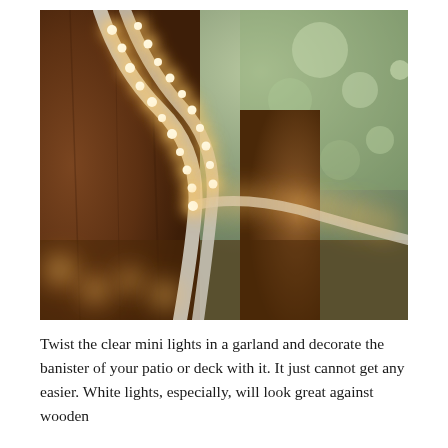[Figure (photo): Close-up photograph of white string lights (mini Christmas/fairy lights) twisted in a garland around the corner of a wooden banister or post on a patio or deck. The lights glow warm amber/yellow against dark brown wood, with blurred green trees in the background at dusk.]
Twist the clear mini lights in a garland and decorate the banister of your patio or deck with it. It just cannot get any easier. White lights, especially, will look great against wooden